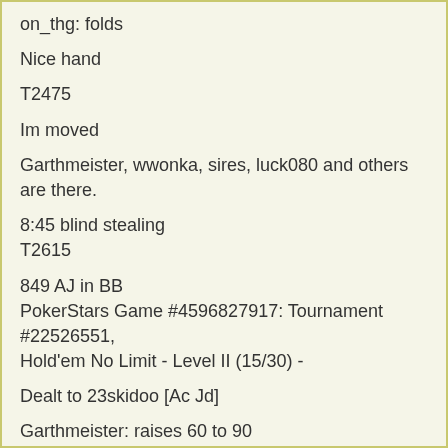on_thg: folds
Nice hand
T2475
Im moved
Garthmeister, wwonka, sires, luck080 and others are there.
8:45 blind stealing
T2615
849 AJ in BB
PokerStars Game #4596827917: Tournament #22526551, Hold'em No Limit - Level II (15/30) -
Dealt to 23skidoo [Ac Jd]
Garthmeister: raises 60 to 90
23skidoo: raises 150 to 240
Garthmeister: calls 150